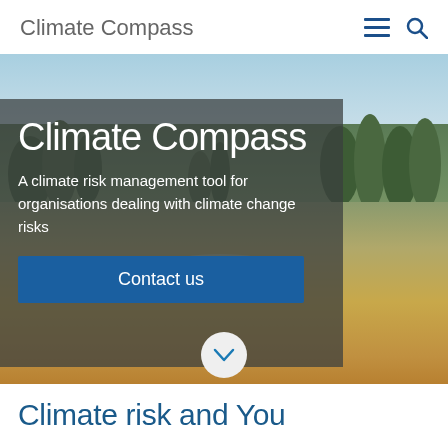Climate Compass
[Figure (photo): Landscape photo of a dry rural Australian field with trees in the background and a partly cloudy sky. Overlaid with a dark semi-transparent panel containing the hero text and contact button.]
Climate Compass
A climate risk management tool for organisations dealing with climate change risks
Contact us
Climate risk and You